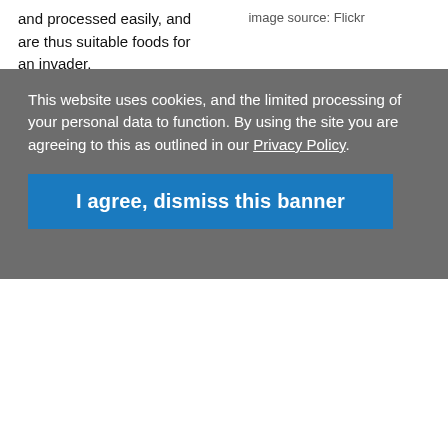and processed easily, and are thus suitable foods for an invader.
image source: Flickr
Activity 4: different types of bread
For this activity, ask the children to bring in different types of bread. Amongst others, you may get wholemeal, granary (with added bran and wheatgerm), oatmeal, rye, soda and flat breads. Set up an observation and taste test. Ask the children to suggest features for comparison such as what
This website uses cookies, and the limited processing of your personal data to function. By using the site you are agreeing to this as outlined in our Privacy Policy.
I agree, dismiss this banner